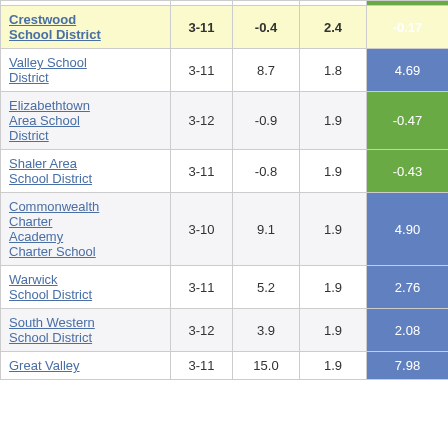| School District | Grades | Col3 | Col4 | Col5 |
| --- | --- | --- | --- | --- |
| Crestwood School District | 3-11 | -0.4 | 2.4 | -0.17 |
| Valley School District | 3-11 | 8.7 | 1.8 | 4.69 |
| Elizabethtown Area School District | 3-12 | -0.9 | 1.9 | -0.47 |
| Shaler Area School District | 3-11 | -0.8 | 1.9 | -0.43 |
| Commonwealth Charter Academy Charter School | 3-10 | 9.1 | 1.9 | 4.90 |
| Warwick School District | 3-11 | 5.2 | 1.9 | 2.76 |
| South Western School District | 3-12 | 3.9 | 1.9 | 2.08 |
| Great Valley School District | 3-11 | 15.0 | 1.9 | 7.98 |